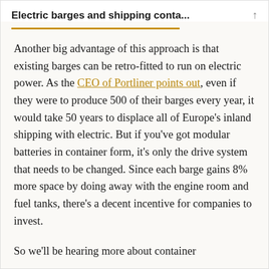Electric barges and shipping conta...
Another big advantage of this approach is that existing barges can be retro-fitted to run on electric power. As the CEO of Portliner points out, even if they were to produce 500 of their barges every year, it would take 50 years to displace all of Europe’s inland shipping with electric. But if you’ve got modular batteries in container form, it’s only the drive system that needs to be changed. Since each barge gains 8% more space by doing away with the engine room and fuel tanks, there’s a decent incentive for companies to invest.
So we’ll be hearing more about container